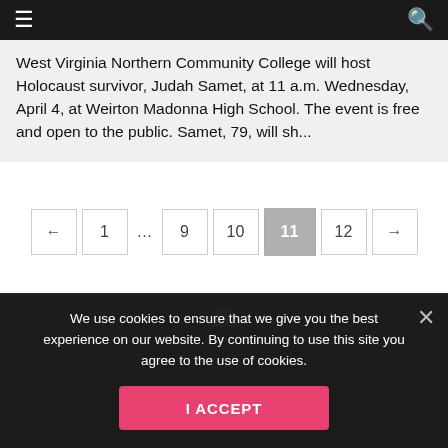≡ [hamburger menu] | [search icon]
West Virginia Northern Community College will host Holocaust survivor, Judah Samet, at 11 a.m. Wednesday, April 4, at Weirton Madonna High School. The event is free and open to the public. Samet, 79, will sh...
Pagination: ← 1 … 9 10 11 12 →
We use cookies to ensure that we give you the best experience on our website. By continuing to use this site you agree to the use of cookies.
I ACCEPT